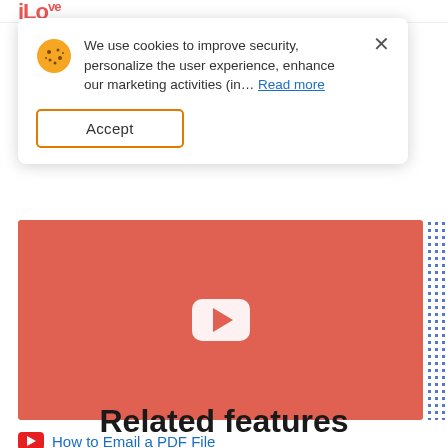[Figure (screenshot): Cookie consent banner with cookie emoji icon, text about cookies, Read more link, Accept button, and close X button]
[Figure (screenshot): YouTube video embed placeholder with red/salmon background and white YouTube play button in the center]
How to Email a PDF File
Related features